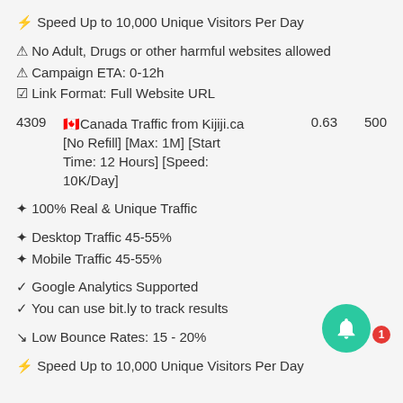⚡ Speed Up to 10,000 Unique Visitors Per Day
⚠ No Adult, Drugs or other harmful websites allowed
⚠ Campaign ETA: 0-12h
☑ Link Format: Full Website URL
| ID | Description | Price | Max |
| --- | --- | --- | --- |
| 4309 | 🇨🇦Canada Traffic from Kijiji.ca [No Refill] [Max: 1M] [Start Time: 12 Hours] [Speed: 10K/Day] | 0.63 | 500 |
✦ 100% Real & Unique Traffic
✦ Desktop Traffic 45-55%
✦ Mobile Traffic 45-55%
✓ Google Analytics Supported
✓ You can use bit.ly to track results
↘ Low Bounce Rates: 15 - 20%
⚡ Speed Up to 10,000 Unique Visitors Per Day